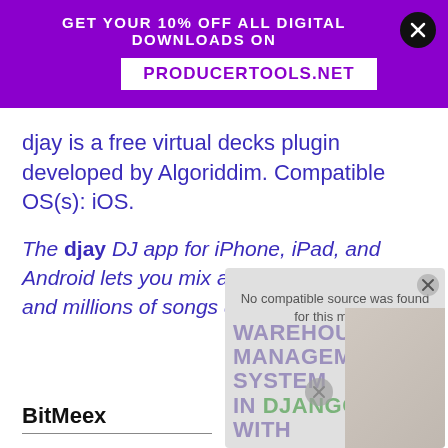[Figure (infographic): Purple promotional banner: 'GET YOUR 10% OFF ALL DIGITAL DOWNLOADS ON PRODUCERTOOLS.NET' with a close (X) button]
djay is a free virtual decks plugin developed by Algoriddim. Compatible OS(s): iOS.
The djay DJ app for iPhone, iPad, and Android lets you mix all your local music and millions of songs directly from Spotify.
BitMeex
[Figure (screenshot): Video player overlay showing 'No compatible source was found for this media.' with a warehouse management system advertisement in the background and a close button]